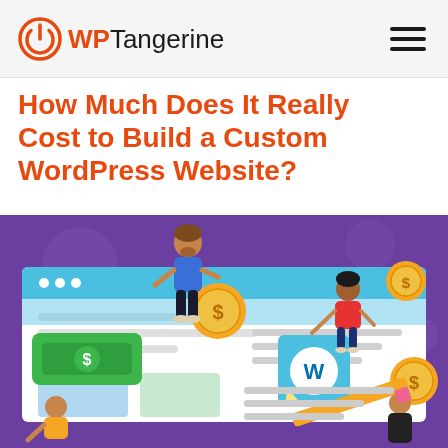WPTangerine
How Much Does It Really Cost to Build a Custom WordPress Website?
[Figure (illustration): Illustrated graphic showing people interacting with a website mockup, with dollar sign coins, WordPress logo, money bills, and a pencil, on a purple background. Represents the cost of building a WordPress website.]